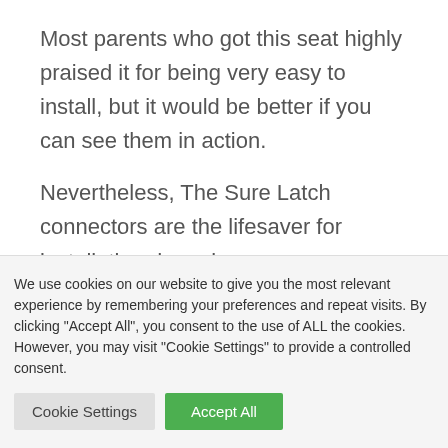Most parents who got this seat highly praised it for being very easy to install, but it would be better if you can see them in action.
Nevertheless, The Sure Latch connectors are the lifesaver for installation dummies.
In some reviews, some parents say that
We use cookies on our website to give you the most relevant experience by remembering your preferences and repeat visits. By clicking "Accept All", you consent to the use of ALL the cookies. However, you may visit "Cookie Settings" to provide a controlled consent.